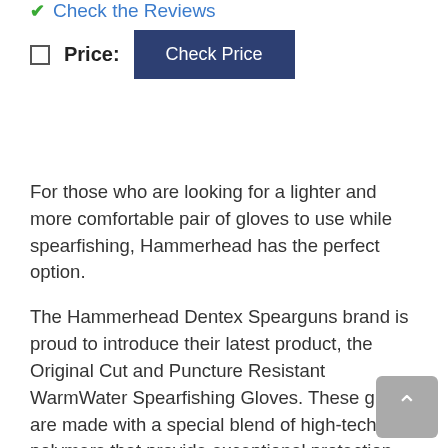Check the Reviews
Price: Check Price
For those who are looking for a lighter and more comfortable pair of gloves to use while spearfishing, Hammerhead has the perfect option.
The Hammerhead Dentex Spearguns brand is proud to introduce their latest product, the Original Cut and Puncture Resistant WarmWater Spearfishing Gloves. These gloves are made with a special blend of high-tech polymers that provide exceptional protection against both cuts and punctures. These gloves are designed to really